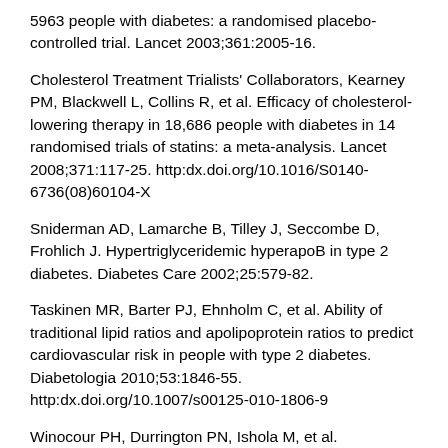5963 people with diabetes: a randomised placebo-controlled trial. Lancet 2003;361:2005-16.
Cholesterol Treatment Trialists' Collaborators, Kearney PM, Blackwell L, Collins R, et al. Efficacy of cholesterol-lowering therapy in 18,686 people with diabetes in 14 randomised trials of statins: a meta-analysis. Lancet 2008;371:117-25. http:dx.doi.org/10.1016/S0140-6736(08)60104-X
Sniderman AD, Lamarche B, Tilley J, Seccombe D, Frohlich J. Hypertriglyceridemic hyperapoB in type 2 diabetes. Diabetes Care 2002;25:579-82.
Taskinen MR, Barter PJ, Ehnholm C, et al. Ability of traditional lipid ratios and apolipoprotein ratios to predict cardiovascular risk in people with type 2 diabetes. Diabetologia 2010;53:1846-55. http:dx.doi.org/10.1007/s00125-010-1806-9
Winocour PH, Durrington PN, Ishola M, et al. Lipoprotein